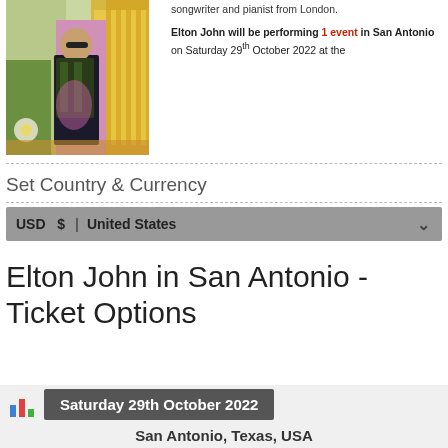[Figure (photo): Photo of Elton John standing in front of a colorful stage backdrop, wearing an ornate jacket]
songwriter and pianist from London.
Elton John will be performing 1 event in San Antonio on Saturday 29th October 2022 at the
Set Country & Currency
USD $    United States
Elton John in San Antonio - Ticket Options
Saturday 29th October 2022
San Antonio, Texas, USA